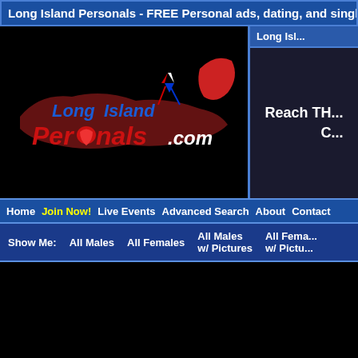Long Island Personals - FREE Personal ads, dating, and singles
[Figure (logo): LongIslandPersonals.com logo with red cursive text and patriotic ribbon]
Long Isl... Reach TH... C...
Home  Join Now!  Live Events  Advanced Search  About  Contact
Show Me:  All Males  All Females  All Males w/ Pictures  All Females w/ Pictures
Show 10 members per page  Sort By: Time of Last Login  Ascending  Descending
Show Only Members Who Are Ages 18 to 99 from Any
Long Island Personals has found 786 members who meet the criteria specified:
Display page: First | Previous | ...